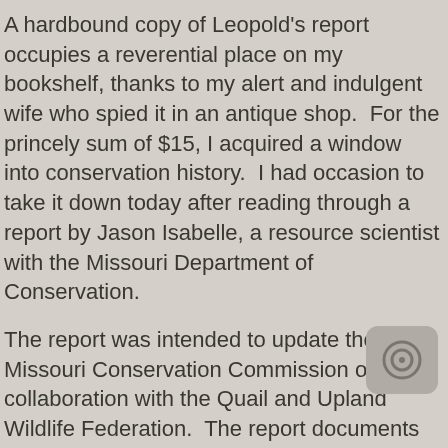A hardbound copy of Leopold's report occupies a reverential place on my bookshelf, thanks to my alert and indulgent wife who spied it in an antique shop.  For the princely sum of $15, I acquired a window into conservation history.  I had occasion to take it down today after reading through a report by Jason Isabelle, a resource scientist with the Missouri Department of Conservation.
The report was intended to update the Missouri Conservation Commission on a collaboration with the Quail and Upland Wildlife Federation.  The report documents Missouri's stubborn refusal to give up on a magnificent game bird that has continued to hold a place in Show-Me State hunters' hearts and imaginations, long after it lost its place on our landscape.
Leopold's work showed that ruffed grouse once occupied all but Missouri's southwestern and northwestern counties.  Although Missouri was at the far southwestern edge of the